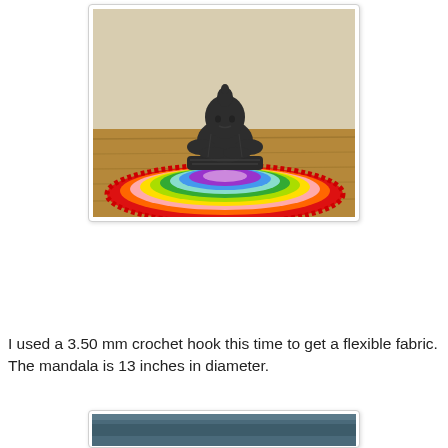[Figure (photo): A colorful rainbow crochet mandala doily lying flat on a wooden surface, with a dark metal Buddha statue sitting on top of it. The mandala features concentric rings in purple, blue, green, yellow, orange, and red.]
I used a 3.50 mm crochet hook this time to get a flexible fabric. The mandala is 13 inches in diameter.
[Figure (photo): Partial view of another photo, cropped at the bottom of the page.]